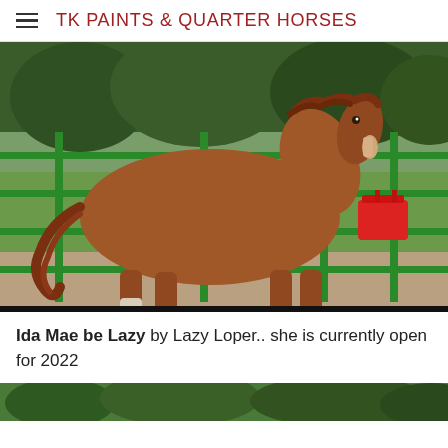TK PAINTS & QUARTER HORSES
[Figure (photo): A chestnut horse standing in profile view inside a green metal pipe fence enclosure. Sandy ground, green grass and trees in background. A red bucket/container hangs on the fence in the background.]
Ida Mae be Lazy by Lazy Loper.. she is currently open for 2022
[Figure (photo): Partial view of another photo showing trees at the bottom of the page.]